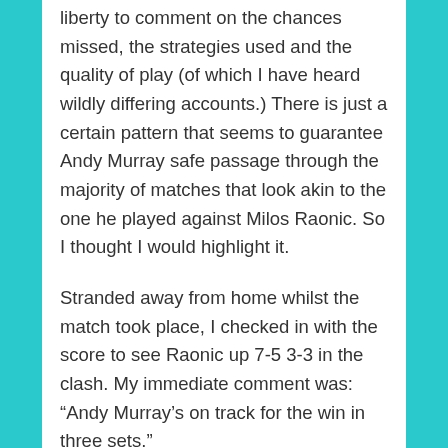liberty to comment on the chances missed, the strategies used and the quality of play (of which I have heard wildly differing accounts.) There is just a certain pattern that seems to guarantee Andy Murray safe passage through the majority of matches that look akin to the one he played against Milos Raonic. So I thought I would highlight it.
Stranded away from home whilst the match took place, I checked in with the score to see Raonic up 7-5 3-3 in the clash. My immediate comment was: “Andy Murray’s on track for the win in three sets.”
The report was that Milos Raonic was playing well heading into the second set tiebreak, but there was not a single part of me that thought he would win it. After he lost it, the chances of a Raonic win – despite comments